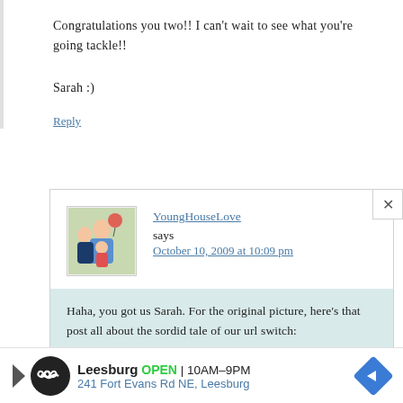Congratulations you two!! I can't wait to see what you're going tackle!!
Sarah :)
Reply
YoungHouseLove says
October 10, 2009 at 10:09 pm
Haha, you got us Sarah. For the original picture, here's that post all about the sordid tale of our url switch: https://www.younghouselove.com/2009/07/the-end-of-this-young-house/
[Figure (infographic): Advertisement banner for Leesburg store showing logo, OPEN 10AM-9PM, 241 Fort Evans Rd NE Leesburg]